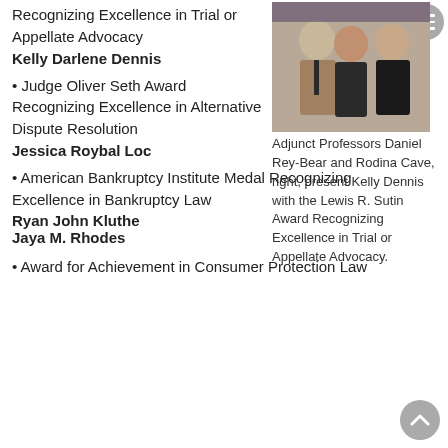Recognizing Excellence in Trial or Appellate Advocacy
Kelly Darlene Dennis
[Figure (photo): Three people (two women and one man) posing together for a photo, likely at an awards ceremony]
Adjunct Professors Daniel Rey-Bear and Rodina Cave, right, present Kelly Dennis with the Lewis R. Sutin Award Recognizing Excellence in Trial or Appellate Advocacy.
• Judge Oliver Seth Award Recognizing Excellence in Alternative Dispute Resolution
Jessica Roybal Loc
• American Bankruptcy Institute Medal Recognizing Excellence in Bankruptcy Law
Ryan John Kluthe
Jaya M. Rhodes
• Award for Achievement in Consumer Protection Law